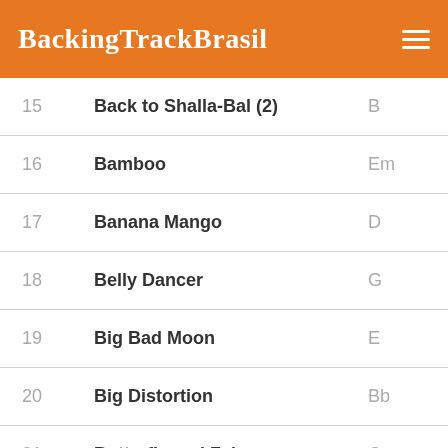BackingTrackBrasil
| # | Title | Key |
| --- | --- | --- |
| 15 | Back to Shalla-Bal (2) | B |
| 16 | Bamboo | Em |
| 17 | Banana Mango | D |
| 18 | Belly Dancer | G |
| 19 | Big Bad Moon | E |
| 20 | Big Distortion | Bb |
| 21 | Butterfly and Zebra | C |
| 22 | Can't Go Back | Bbm |
| 23 | Cherry Blossoms | C#m |